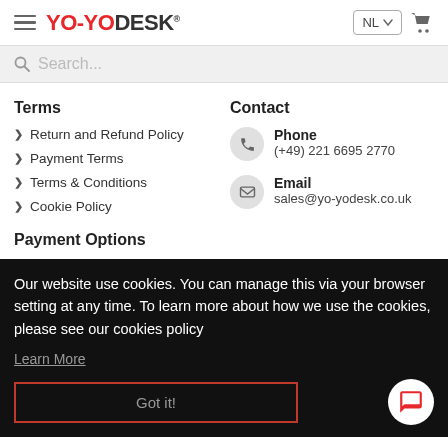YO-YODESK — NL — hamburger menu — cart icon
Search...
Terms
Return and Refund Policy
Payment Terms
Terms & Conditions
Cookie Policy
Contact
Phone
(+49) 221 6695 2770
Email
sales@yo-yodesk.co.uk
Payment Options
Our website use cookies. You can manage this via your browser setting at any time. To learn more about how we use the cookies, please see our cookies policy
Learn More
Got it!